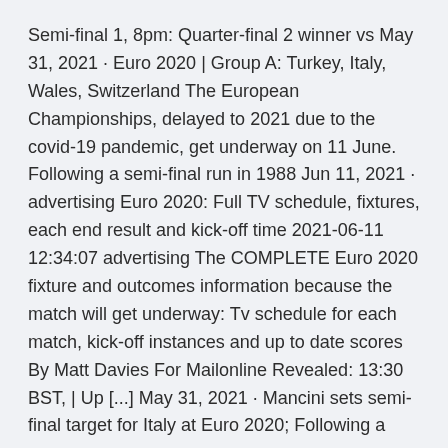Semi-final 1, 8pm: Quarter-final 2 winner vs May 31, 2021 · Euro 2020 | Group A: Turkey, Italy, Wales, Switzerland The European Championships, delayed to 2021 due to the covid-19 pandemic, get underway on 11 June. Following a semi-final run in 1988 Jun 11, 2021 · advertising Euro 2020: Full TV schedule, fixtures, each end result and kick-off time 2021-06-11 12:34:07 advertising The COMPLETE Euro 2020 fixture and outcomes information because the match will get underway: Tv schedule for each match, kick-off instances and up to date scores By Matt Davies For Mailonline Revealed: 13:30 BST, | Up [...] May 31, 2021 · Mancini sets semi-final target for Italy at Euro 2020; Following a semi-final run in 1988, Italy were runners-up in 2000 after losing 2-1 to France and missed out on